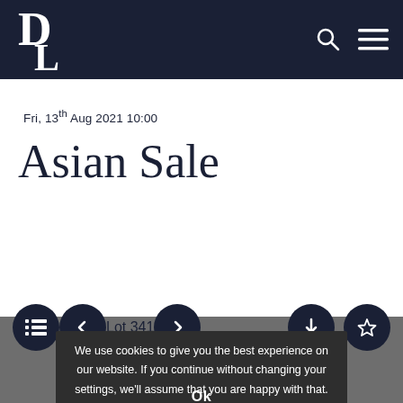[Figure (logo): DL auction house logo in white on dark navy header bar, with search and hamburger menu icons]
Fri, 13th Aug 2021 10:00
Asian Sale
[Figure (other): Navigation button row with list icon, left arrow, Lot 341 label, right arrow, download icon, and star/favourite icon — dark navy circular buttons on white/gray background]
We use cookies to give you the best experience on our website. If you continue without changing your settings, we'll assume that you are happy with that.
Ok